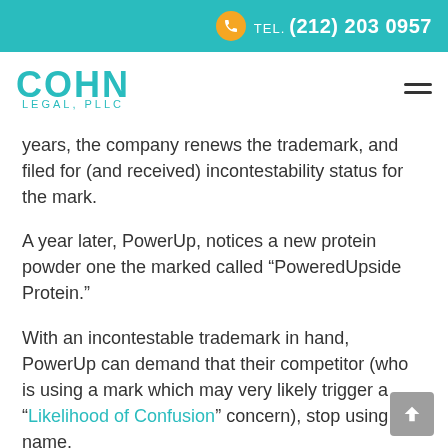Tel. (212) 203 0957
[Figure (logo): Cohn Legal, PLLC logo in teal with hamburger menu icon]
years, the company renews the trademark, and filed for (and received) incontestability status for the mark.
A year later, PowerUp, notices a new protein powder one the marked called “PoweredUpside Protein.”
With an incontestable trademark in hand, PowerUp can demand that their competitor (who is using a mark which may very likely trigger a “Likelihood of Confusion” concern), stop using the name.
The courts will see the incontestable trademark as conclusive proof that PowerUp has the valid